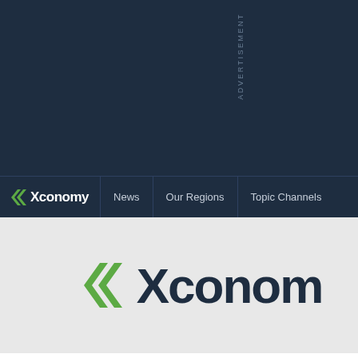ADVERTISEMENT
Xconomy | News | Our Regions | Topic Channels
[Figure (logo): Xconomy logo with green chevron/double-arrow and dark text on light grey background]
In Wake of Alzheimer's, Wall Street Revisits Pf... J&J